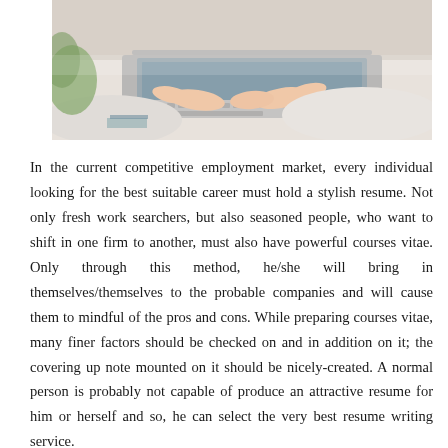[Figure (photo): Person's hands typing on a laptop keyboard, viewed from above at an angle. A plant is visible on the left side. The photo has a bright, modern aesthetic.]
In the current competitive employment market, every individual looking for the best suitable career must hold a stylish resume. Not only fresh work searchers, but also seasoned people, who want to shift in one firm to another, must also have powerful courses vitae. Only through this method, he/she will bring in themselves/themselves to the probable companies and will cause them to mindful of the pros and cons. While preparing courses vitae, many finer factors should be checked on and in addition on it; the covering up note mounted on it should be nicely-created. A normal person is probably not capable of produce an attractive resume for him or herself and so, he can select the very best resume writing service.